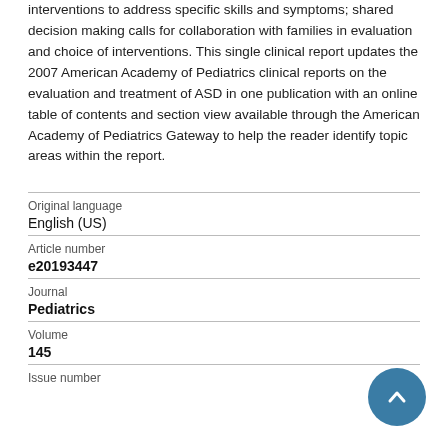interventions to address specific skills and symptoms; shared decision making calls for collaboration with families in evaluation and choice of interventions. This single clinical report updates the 2007 American Academy of Pediatrics clinical reports on the evaluation and treatment of ASD in one publication with an online table of contents and section view available through the American Academy of Pediatrics Gateway to help the reader identify topic areas within the report.
| Original language | English (US) |
| Article number | e20193447 |
| Journal | Pediatrics |
| Volume | 145 |
| Issue number |  |